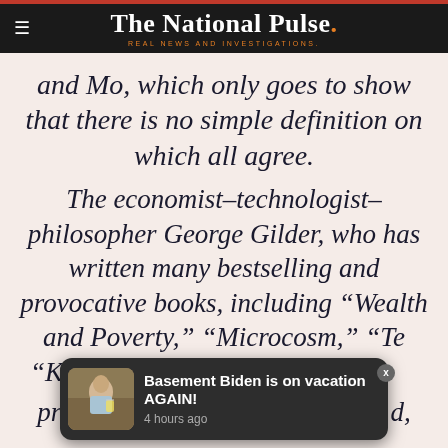The National Pulse. REAL NEWS AND INVESTIGATIONS.
and Mo, which only goes to show that there is no simple definition on which all agree.
The economist–technologist–philosopher George Gilder, who has written many bestselling and provocative books, including “Wealth and Poverty,” “Microcosm,” “Te...” “Kn...” produced a remarkable essay t...d,
[Figure (screenshot): Push notification popup overlay reading 'Basement Biden is on vacation AGAIN! 4 hours ago' with a thumbnail photo of a man holding a drink]